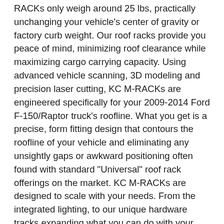RACKs only weigh around 25 lbs, practically unchanging your vehicle's center of gravity or factory curb weight. Our roof racks provide you peace of mind, minimizing roof clearance while maximizing cargo carrying capacity. Using advanced vehicle scanning, 3D modeling and precision laser cutting, KC M-RACKs are engineered specifically for your 2009-2014 Ford F-150/Raptor truck's roofline. What you get is a precise, form fitting design that contours the roofline of your vehicle and eliminating any unsightly gaps or awkward positioning often found with standard "Universal" roof rack offerings on the market. KC M-RACKs are designed to scale with your needs. From the integrated lighting, to our unique hardware tracks expanding what you can do with your rack are endless. This KC M-RACKs also includes an integrated 50" Gravity LED 8-Light Pro6 light bar system that delivers 18,400 raw lumens of light output, with unparalleled light distance, performance and clarity to deliver light where you need it most.Before placing a load on your M-RACK, please consult your vehicle manufacturer's guide to avoid exceeding the roof's maximum capacity for load. Weight will shift forward,